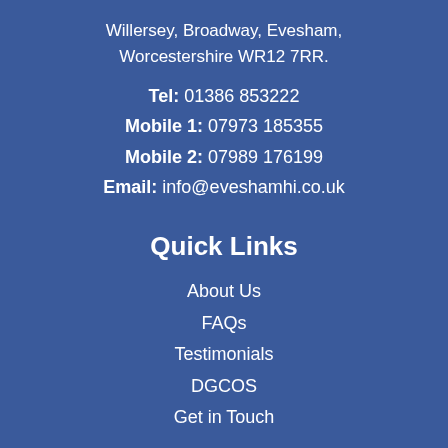Willersey, Broadway, Evesham, Worcestershire WR12 7RR.
Tel: 01386 853222
Mobile 1: 07973 185355
Mobile 2: 07989 176199
Email: info@eveshamhi.co.uk
Quick Links
About Us
FAQs
Testimonials
DGCOS
Get in Touch